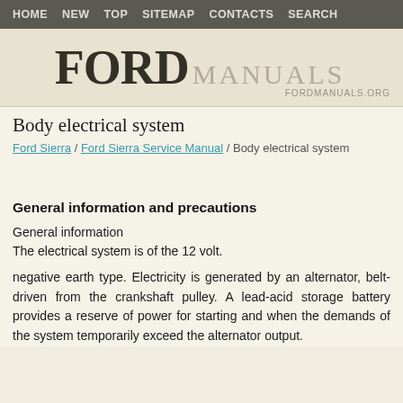HOME  NEW  TOP  SITEMAP  CONTACTS  SEARCH
[Figure (logo): Ford Manuals logo with large FORD text and MANUALS alongside it, FORDMANUALS.ORG URL below]
Body electrical system
Ford Sierra / Ford Sierra Service Manual / Body electrical system
General information and precautions
General information
The electrical system is of the 12 volt.
negative earth type. Electricity is generated by an alternator, belt-driven from the crankshaft pulley. A lead-acid storage battery provides a reserve of power for starting and when the demands of the system temporarily exceed the alternator output.